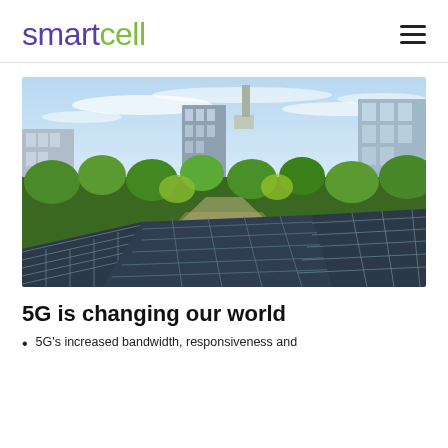smartcell
[Figure (photo): Solar panels in the foreground with green trees and city skyscrapers in the background under a partly cloudy sky.]
5G is changing our world
5G's increased bandwidth, responsiveness and